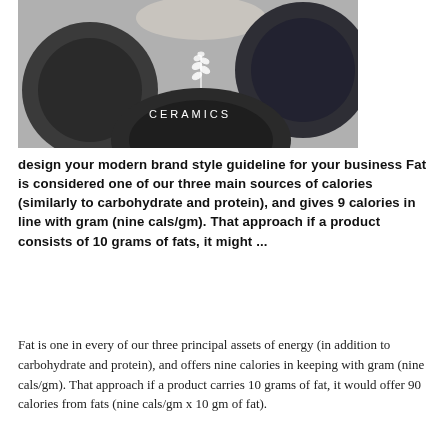[Figure (photo): Overhead photo of dark ceramic plates and bowls arranged together, with a white leaf/branch logo and the word CERAMICS printed in white on one of the plates.]
design your modern brand style guideline for your business Fat is considered one of our three main sources of calories (similarly to carbohydrate and protein), and gives 9 calories in line with gram (nine cals/gm). That approach if a product consists of 10 grams of fats, it might ...
Fat is one in every of our three principal assets of energy (in addition to carbohydrate and protein), and offers nine calories in keeping with gram (nine cals/gm). That approach if a product carries 10 grams of fat, it would offer 90 calories from fats (nine cals/gm x 10 gm of fat).